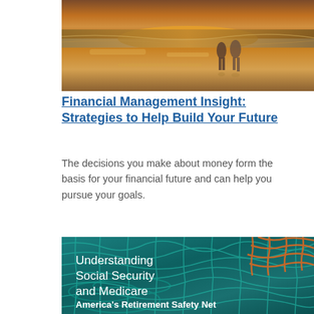[Figure (photo): Two people walking on a beach at sunset, golden and orange reflections on wet sand with ocean waves in the background.]
Financial Management Insight: Strategies to Help Build Your Future
The decisions you make about money form the basis for your financial future and can help you pursue your goals.
[Figure (photo): Close-up photo of tangled fishing nets in teal/turquoise and orange colors, with overlaid white text reading: Understanding Social Security and Medicare — America's Retirement Safety Net]